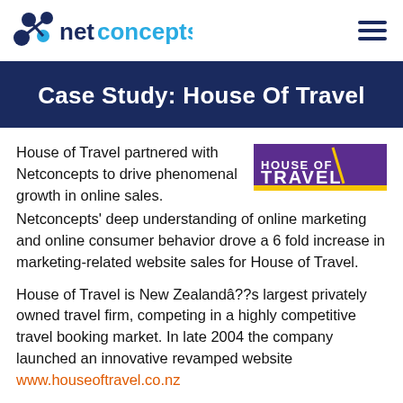netconcepts
Case Study: House Of Travel
House of Travel partnered with Netconcepts to drive phenomenal growth in online sales. Netconcepts' deep understanding of online marketing and online consumer behavior drove a 6 fold increase in marketing-related website sales for House of Travel.
[Figure (logo): House of Travel logo — white text on purple background with yellow underline]
House of Travel is New Zealandâ??s largest privately owned travel firm, competing in a highly competitive travel booking market. In late 2004 the company launched an innovative revamped website www.houseoftravel.co.nz